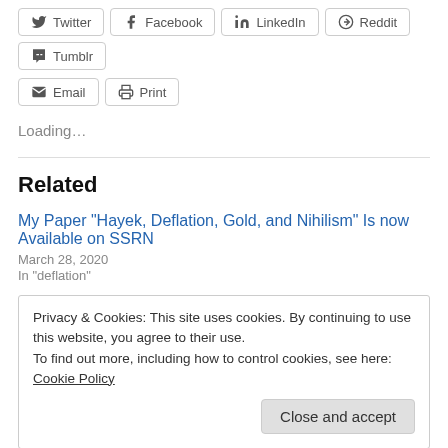Twitter Facebook LinkedIn Reddit Tumblr Email Print
Loading...
Related
My Paper “Hayek, Deflation, Gold, and Nihilism” Is now Available on SSRN
March 28, 2020
In "deflation"
Privacy & Cookies: This site uses cookies. By continuing to use this website, you agree to their use.
To find out more, including how to control cookies, see here: Cookie Policy
Close and accept
December 26, 2020